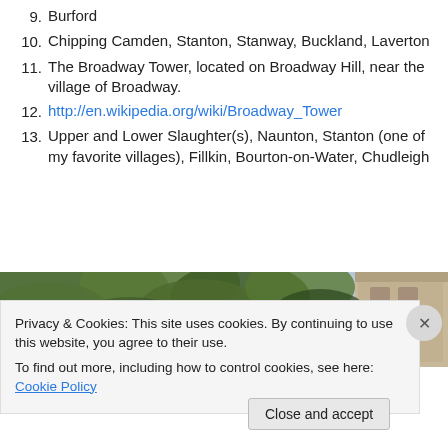9. Burford
10. Chipping Camden, Stanton, Stanway, Buckland, Laverton
11. The Broadway Tower, located on Broadway Hill, near the village of Broadway.
12. http://en.wikipedia.org/wiki/Broadway_Tower
13. Upper and Lower Slaughter(s), Naunton, Stanton (one of my favorite villages), Fillkin, Bourton-on-Water, Chudleigh
[Figure (photo): Partial photo strip showing trees with foliage against sky and a stone building on the right edge]
Privacy & Cookies: This site uses cookies. By continuing to use this website, you agree to their use.
To find out more, including how to control cookies, see here: Cookie Policy
Close and accept